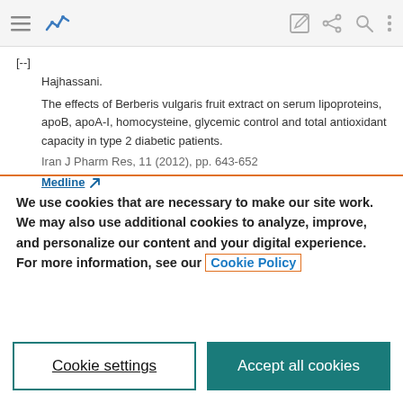[Figure (screenshot): Website navigation bar with hamburger menu, analytics logo icon, edit icon, share icon, search icon, and more options icon]
[--] ... Hajhassani.
The effects of Berberis vulgaris fruit extract on serum lipoproteins, apoB, apoA-I, homocysteine, glycemic control and total antioxidant capacity in type 2 diabetic patients.
Iran J Pharm Res, 11 (2012), pp. 643-652
Medline ↗
We use cookies that are necessary to make our site work. We may also use additional cookies to analyze, improve, and personalize our content and your digital experience. For more information, see our Cookie Policy
Cookie settings
Accept all cookies